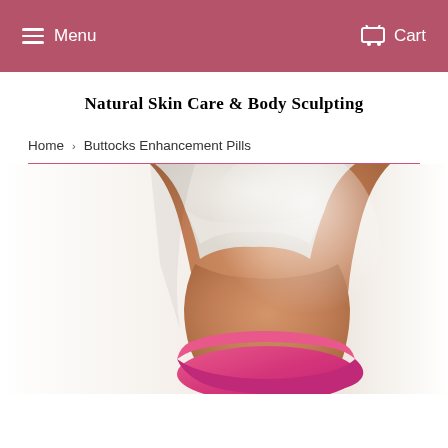Menu   Cart
Natural Skin Care & Body Sculpting
Home › Buttocks Enhancement Pills
[Figure (photo): Photo of a woman's torso and lower body from behind, wearing a white crop top and pink/magenta bikini bottoms, showing toned waist and hips against a white background.]